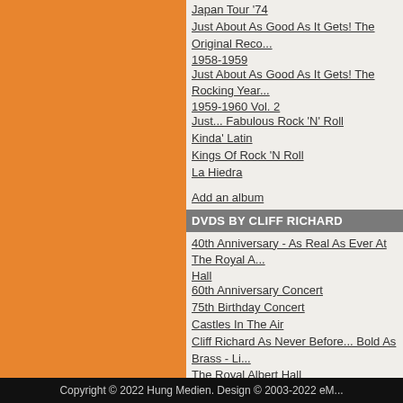Japan Tour '74
Just About As Good As It Gets! The Original Reco... 1958-1959
Just About As Good As It Gets! The Rocking Year... 1959-1960 Vol. 2
Just... Fabulous Rock 'N' Roll
Kinda' Latin
Kings Of Rock 'N Roll
La Hiedra
Add an album
DVDS BY CLIFF RICHARD
40th Anniversary - As Real As Ever At The Royal A... Hall
60th Anniversary Concert
75th Birthday Concert
Castles In The Air
Cliff Richard As Never Before... Bold As Brass - Li... The Royal Albert Hall
Cliff World Tour 2003
REVIEWS
Average points: 5.5 (Reviews: 2)
21.07.2012 15:33
FranzPanzer
Member
****** Gute, sehr umfassende...
21.07.2012 20:22
southpaw
Member
***** Sehr gut.
Add a review
Copyright © 2022 Hung Medien. Design © 2003-2022 eM...